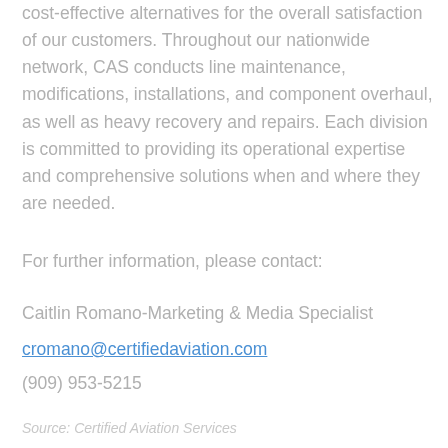cost-effective alternatives for the overall satisfaction of our customers. Throughout our nationwide network, CAS conducts line maintenance, modifications, installations, and component overhaul, as well as heavy recovery and repairs. Each division is committed to providing its operational expertise and comprehensive solutions when and where they are needed.
For further information, please contact:
Caitlin Romano-Marketing & Media Specialist
cromano@certifiedaviation.com
(909) 953-5215
Source: Certified Aviation Services